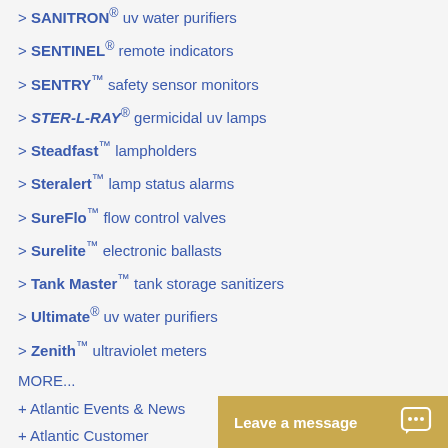> SANITRON® uv water purifiers
> SENTINEL® remote indicators
> SENTRY™ safety sensor monitors
> STER-L-RAY® germicidal uv lamps
> Steadfast™ lampholders
> Steralert™ lamp status alarms
> SureFlo™ flow control valves
> Surelite™ electronic ballasts
> Tank Master™ tank storage sanitizers
> Ultimate® uv water purifiers
> Zenith™ ultraviolet meters
MORE...
+ Atlantic Events & News
+ Atlantic Customer